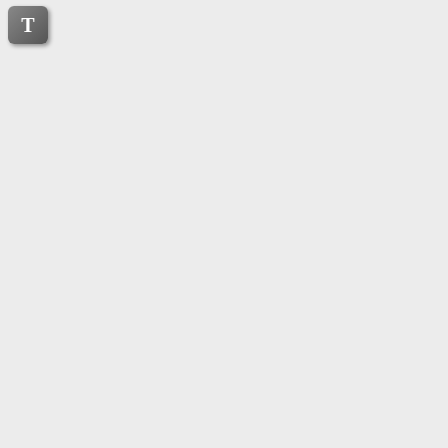[Figure (other): Gray icon button with letter T in top-left corner]
$name for variable name
$value for variable value
$isdefined expanding to 1 or 0 depending if variable is defined or not
$isset expanding to 1 or 0 depending if variable is logically true or false
$ispersistent expanding to 1 or 0 depending if variable is persistent or not